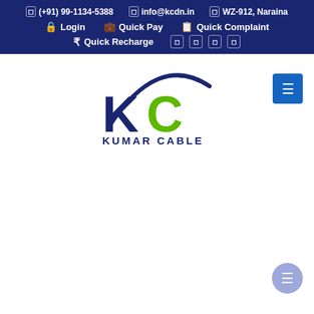(+91) 99-1134-5388 | info@kcdn.in | WZ-912, Naraina | Login | Quick Pay | Quick Complaint | Quick Recharge
[Figure (logo): Kumar Cable Digital Network Pvt. Ltd. logo with green KC letters and swoosh, dark navy text below]